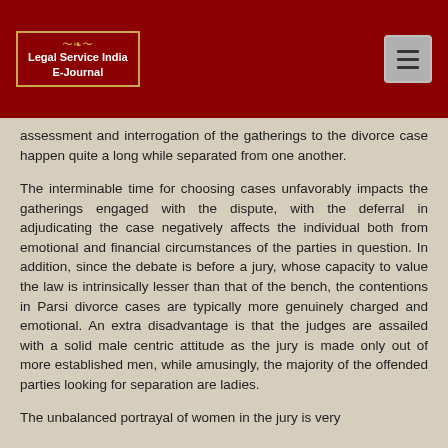Legal Service India E-Journal
assessment and interrogation of the gatherings to the divorce case happen quite a long while separated from one another.
The interminable time for choosing cases unfavorably impacts the gatherings engaged with the dispute, with the deferral in adjudicating the case negatively affects the individual both from emotional and financial circumstances of the parties in question. In addition, since the debate is before a jury, whose capacity to value the law is intrinsically lesser than that of the bench, the contentions in Parsi divorce cases are typically more genuinely charged and emotional. An extra disadvantage is that the judges are assailed with a solid male centric attitude as the jury is made only out of more established men, while amusingly, the majority of the offended parties looking for separation are ladies.
The unbalanced portrayal of women in the jury is very